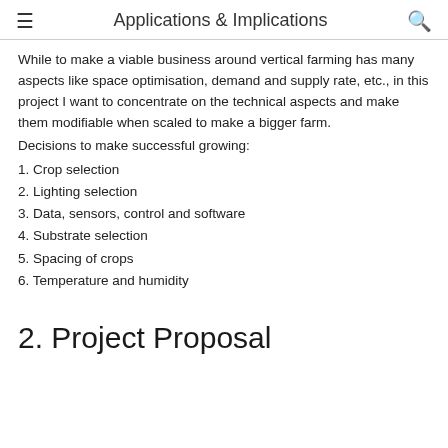Applications & Implications
While to make a viable business around vertical farming has many aspects like space optimisation, demand and supply rate, etc., in this project I want to concentrate on the technical aspects and make them modifiable when scaled to make a bigger farm.
Decisions to make successful growing:
1. Crop selection
2. Lighting selection
3. Data, sensors, control and software
4. Substrate selection
5. Spacing of crops
6. Temperature and humidity
2. Project Proposal